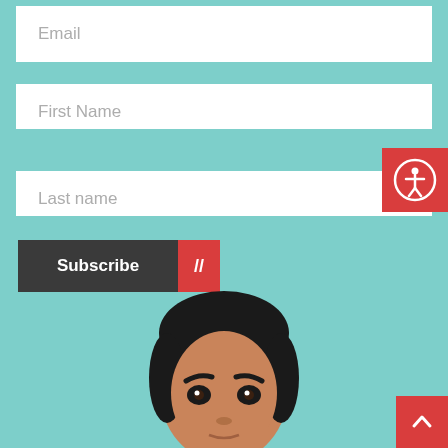Email
First Name
Last name
Subscribe //
[Figure (illustration): Cartoon illustration of a person's face with dark hair, visible from forehead to chin, looking slightly upward, on teal background]
[Figure (other): Red accessibility icon button with person-in-circle symbol, positioned top-right]
[Figure (other): Red scroll-to-top button with upward arrow, positioned bottom-right]